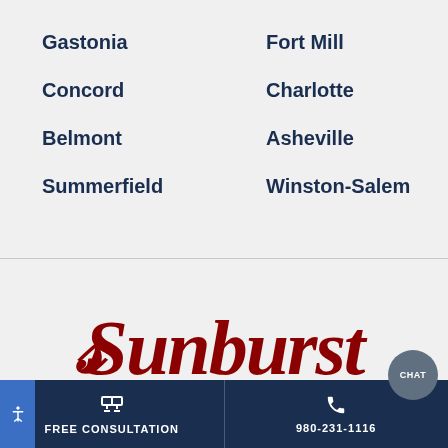Gastonia
Fort Mill
Concord
Charlotte
Belmont
Asheville
Summerfield
Winston-Salem
[Figure (logo): Sunburst Shutters & [company logo in dark red cursive script]]
FREE CONSULTATION | 980-231-1116 | CHAT